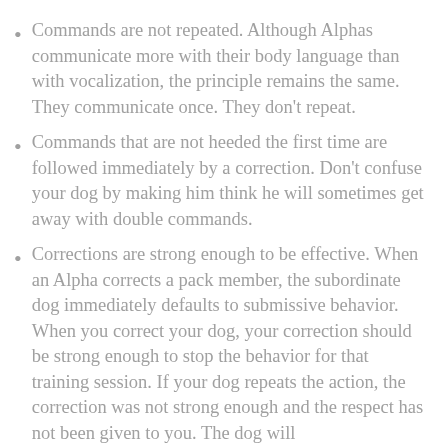Commands are not repeated. Although Alphas communicate more with their body language than with vocalization, the principle remains the same. They communicate once. They don't repeat.
Commands that are not heeded the first time are followed immediately by a correction. Don't confuse your dog by making him think he will sometimes get away with double commands.
Corrections are strong enough to be effective. When an Alpha corrects a pack member, the subordinate dog immediately defaults to submissive behavior. When you correct your dog, your correction should be strong enough to stop the behavior for that training session. If your dog repeats the action, the correction was not strong enough and the respect has not been given to you. The dog will